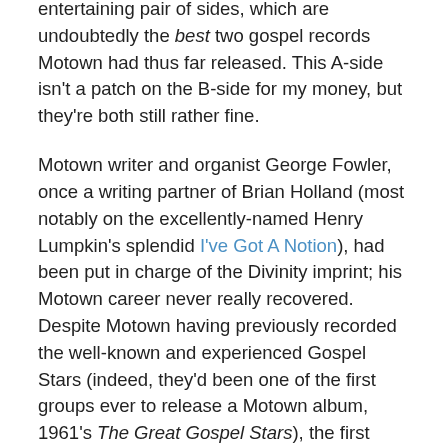entertaining pair of sides, which are undoubtedly the best two gospel records Motown had thus far released. This A-side isn't a patch on the B-side for my money, but they're both still rather fine.
Motown writer and organist George Fowler, once a writing partner of Brian Holland (most notably on the excellently-named Henry Lumpkin's splendid I've Got A Notion), had been put in charge of the Divinity imprint; his Motown career never really recovered. Despite Motown having previously recorded the well-known and experienced Gospel Stars (indeed, they'd been one of the first groups ever to release a Motown album, 1961's The Great Gospel Stars), the first record Fowler lined up for release was by The Wright Specials, who happened to feature his brother Ernest on piano.